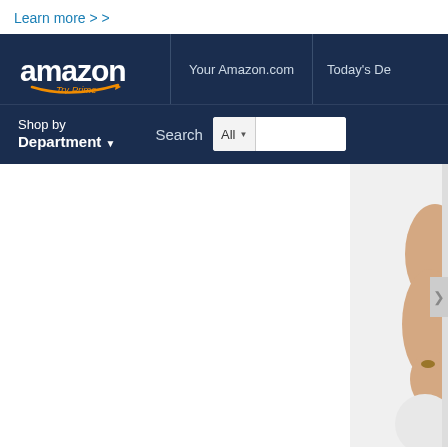Learn more > >
[Figure (screenshot): Amazon.com website screenshot showing the navigation bar with Amazon logo, Try Prime link, Your Amazon.com and Today's De... tabs, Shop by Department dropdown, and Search box with All category selector. Below the nav bar is a promotional banner area with a partial image of a person on the right side.]